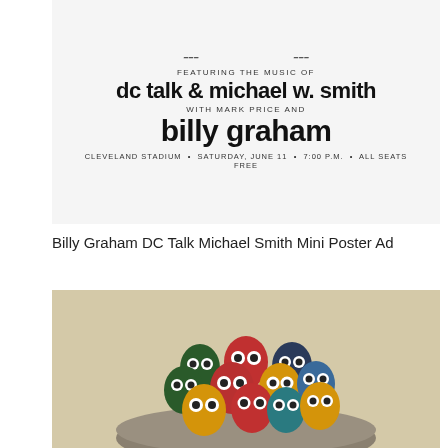[Figure (photo): Photo of a concert poster advertising featuring the music of dc talk & michael w. smith with mark price and billy graham at Cleveland Stadium, Saturday June 11, 7:00 PM, All Seats Free]
Billy Graham DC Talk Michael Smith Mini Poster Ad
[Figure (photo): Photo of colorful ceramic or clay owl figurines (green, red, yellow, blue, dark blue) with googly eyes arranged in a group on top of a large smooth stone]